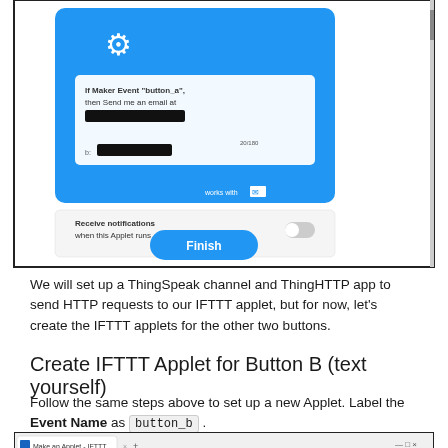[Figure (screenshot): Screenshot of IFTTT applet configuration page showing a blue card with 'If Maker Event button_a, then Send me an email at [redacted]', a toggle for 'Receive notifications when this Applet runs', and a blue 'Finish' button]
We will set up a ThingSpeak channel and ThingHTTP app to send HTTP requests to our IFTTT applet, but for now, let's create the IFTTT applets for the other two buttons.
Create IFTTT Applet for Button B (text yourself)
Follow the same steps above to set up a new Applet. Label the Event Name as button_b .
[Figure (screenshot): Partial screenshot of IFTTT browser window showing the Make an Applet page]